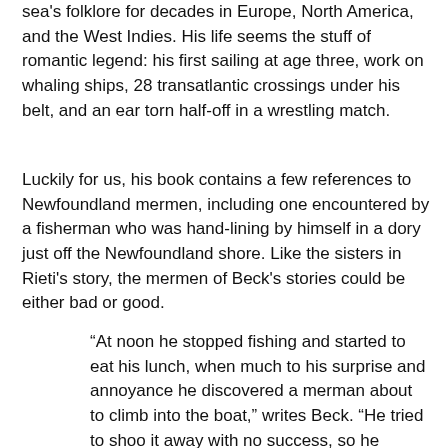sea's folklore for decades in Europe, North America, and the West Indies. His life seems the stuff of romantic legend: his first sailing at age three, work on whaling ships, 28 transatlantic crossings under his belt, and an ear torn half-off in a wrestling match.
Luckily for us, his book contains a few references to Newfoundland mermen, including one encountered by a fisherman who was hand-lining by himself in a dory just off the Newfoundland shore. Like the sisters in Rieti's story, the mermen of Beck's stories could be either bad or good.
“At noon he stopped fishing and started to eat his lunch, when much to his surprise and annoyance he discovered a merman about to climb into the boat,” writes Beck. “He tried to shoo it away with no success, so he grabbed the fish gaff and bashed it on the fingers, after which it acquired a lively interest in other things.”